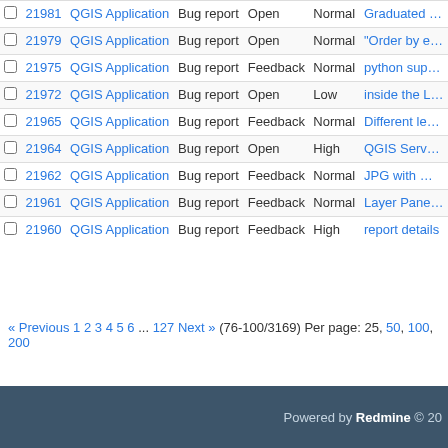|  | # | Project | Tracker | Status | Priority | Subject |
| --- | --- | --- | --- | --- | --- | --- |
|  | 21981 | QGIS Application | Bug report | Open | Normal | Graduated symbo... classes in histogr... |
|  | 21979 | QGIS Application | Bug report | Open | Normal | "Order by expres... doesn't order any... |
|  | 21975 | QGIS Application | Bug report | Feedback | Normal | python support n... after install |
|  | 21972 | QGIS Application | Bug report | Open | Low | inside the Layer's... can't see if a laye... checked or not, w... is highlighted (in ... |
|  | 21965 | QGIS Application | Bug report | Feedback | Normal | Different length m... between QGIS 2.... QGIS 3.4 |
|  | 21964 | QGIS Application | Bug report | Open | High | QGIS Server SE... doesn't work with... ids of type bigint ... |
|  | 21962 | QGIS Application | Bug report | Feedback | Normal | JPG with Worldfil... black bounding b... |
|  | 21961 | QGIS Application | Bug report | Feedback | Normal | Layer Panel displ... data layer unusab... |
|  | 21960 | QGIS Application | Bug report | Feedback | High | report details |
« Previous 1 2 3 4 5 6 ... 127 Next » (76-100/3169) Per page: 25, 50, 100, 200
Powered by Redmine © 20